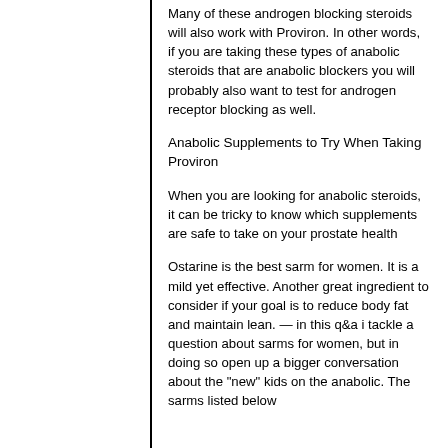Many of these androgen blocking steroids will also work with Proviron. In other words, if you are taking these types of anabolic steroids that are anabolic blockers you will probably also want to test for androgen receptor blocking as well.
Anabolic Supplements to Try When Taking Proviron
When you are looking for anabolic steroids, it can be tricky to know which supplements are safe to take on your prostate health
Ostarine is the best sarm for women. It is a mild yet effective. Another great ingredient to consider if your goal is to reduce body fat and maintain lean. — in this q&amp;a i tackle a question about sarms for women, but in doing so open up a bigger conversation about the &quot;new&quot; kids on the anabolic. The sarms listed below